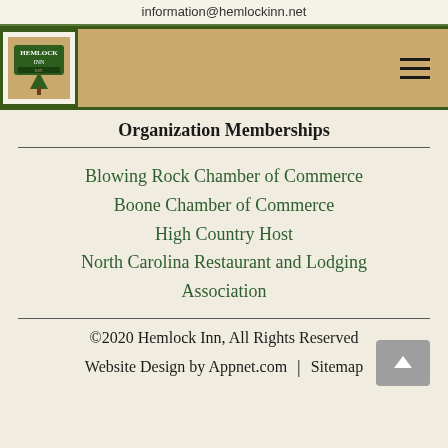information@hemlockinn.net
[Figure (logo): Hemlock Inn logo with green border on tan navigation bar with hamburger menu icon]
Organization Memberships
Blowing Rock Chamber of Commerce
Boone Chamber of Commerce
High Country Host
North Carolina Restaurant and Lodging Association
©2020 Hemlock Inn, All Rights Reserved
Website Design by Appnet.com | Sitemap